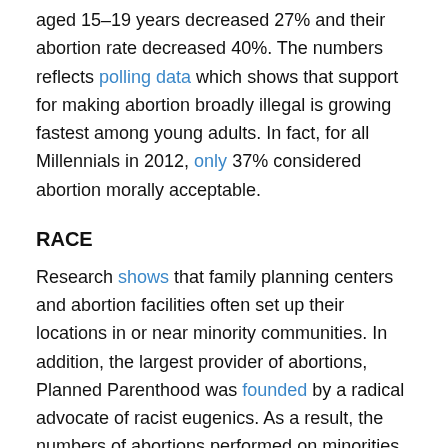aged 15–19 years decreased 27% and their abortion rate decreased 40%. The numbers reflects polling data which shows that support for making abortion broadly illegal is growing fastest among young adults. In fact, for all Millennials in 2012, only 37% considered abortion morally acceptable.
RACE
Research shows that family planning centers and abortion facilities often set up their locations in or near minority communities. In addition, the largest provider of abortions, Planned Parenthood was founded by a radical advocate of racist eugenics. As a result, the numbers of abortions performed on minorities and specifically Black women remain disproportionately high.